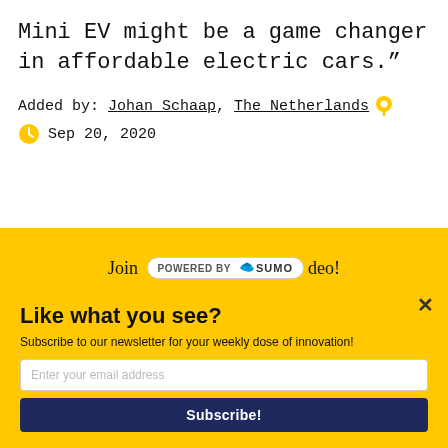Mini EV might be a game changer in affordable electric cars.”
Added by: Johan Schaap, The Netherlands  Sep 20, 2020
[Figure (other): Yellow banner with text 'Join [POWERED BY SUMO logo] deo!']
[Figure (other): Newsletter signup modal overlay with title 'Like what you see?', subtitle 'Subscribe to our newsletter for your weekly dose of innovation!', email input field, and Subscribe! button]